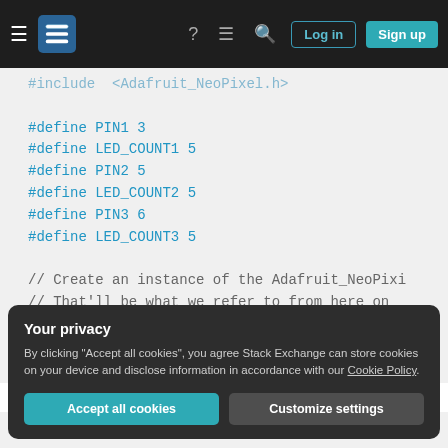Stack Exchange navigation bar with Log in and Sign up buttons
#include <Adafruit_NeoPixel.h>
#define PIN1 3
#define LED_COUNT1 5
#define PIN2 5
#define LED_COUNT2 5
#define PIN3 6
#define LED_COUNT3 5

// Create an instance of the Adafruit_NeoPixel...
// That'll be what we refer to from here on...
Adafruit_NeoPixel XPin = Adafruit_NeoPixel(...
Adafruit_NeoPixel YPin = Adafruit_NeoPixel(...
Adafruit_NeoPixel ZPin = Adafruit_NeoPixel(...
Your privacy
By clicking "Accept all cookies", you agree Stack Exchange can store cookies on your device and disclose information in accordance with our Cookie Policy.
Accept all cookies   Customize settings
void setup()